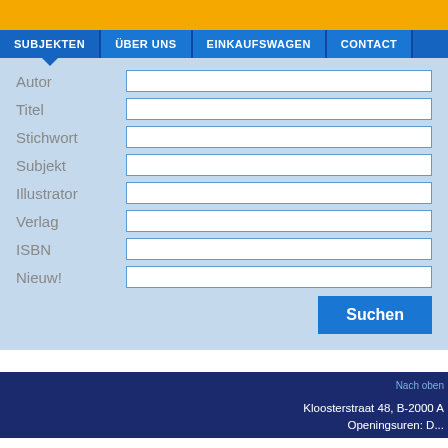[Figure (screenshot): Orange header bar at top of webpage]
SUBJEKTEN | ÜBER UNS | EINKAUFSWAGEN | CONTACT
Autor
Titel
Stichwort
Subjekt
Illustrator
Verlag
ISBN
Nieuw!
Suchen
Nach oben  Kloosterstraat 48, B-2000 A  Openingsuren: D...